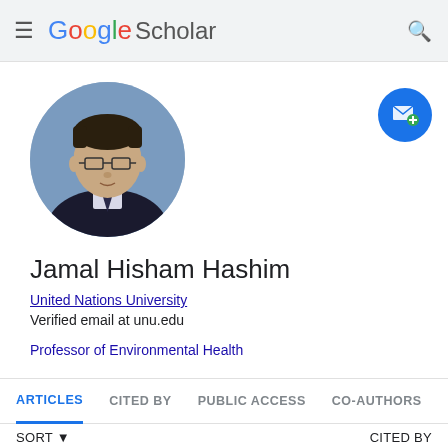Google Scholar
[Figure (photo): Circular profile photo of Jamal Hisham Hashim, a man wearing glasses and a dark suit with tie, against a blue background]
Jamal Hisham Hashim
United Nations University
Verified email at unu.edu
Professor of Environmental Health
ARTICLES   CITED BY   PUBLIC ACCESS   CO-AUTHORS
SORT   CITED BY
Health and health-care systems in southeast Asia:   277